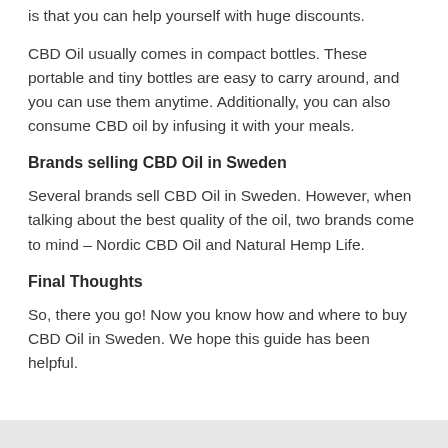is that you can help yourself with huge discounts.
CBD Oil usually comes in compact bottles. These portable and tiny bottles are easy to carry around, and you can use them anytime. Additionally, you can also consume CBD oil by infusing it with your meals.
Brands selling CBD Oil in Sweden
Several brands sell CBD Oil in Sweden. However, when talking about the best quality of the oil, two brands come to mind – Nordic CBD Oil and Natural Hemp Life.
Final Thoughts
So, there you go! Now you know how and where to buy CBD Oil in Sweden. We hope this guide has been helpful.